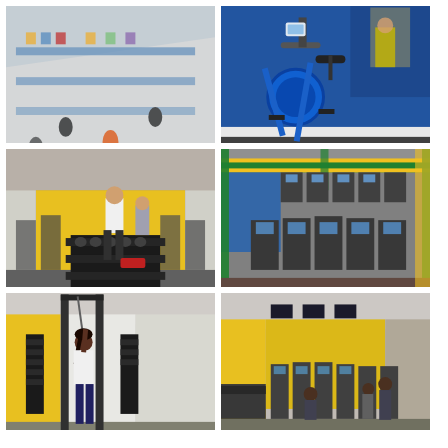[Figure (photo): Overhead view of a busy retail/warehouse floor with people browsing equipment, blue shelving units visible.]
[Figure (photo): Close-up of a blue exercise bike against a blue and white wall in a gym setting.]
[Figure (photo): Interior of a gym with yellow walls, rows of cardio equipment and a person using a black dumbbell rack in the foreground.]
[Figure (photo): Warehouse storage area with rows of treadmills and cardio equipment on green and yellow metal shelving racks.]
[Figure (photo): Person exercising on a cable machine in a gym with yellow and white walls and white ceiling panels.]
[Figure (photo): Gym interior with yellow walls, rows of cardio machines and people working out in background.]